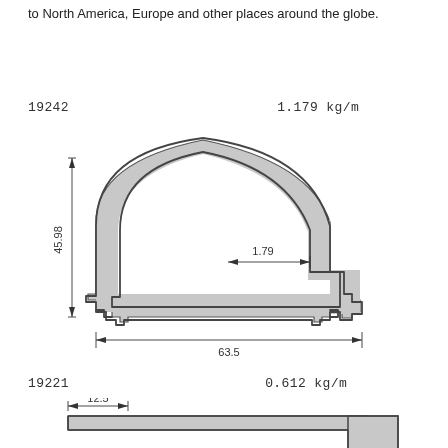to North America, Europe and other places around the globe.
19242                                    1.179 kg/m
[Figure (engineering-diagram): Cross-section technical drawing of an extruded aluminum profile part 19242. The profile has an arched top, wall thickness visible on left and right sides, and a step feature on the right. Dimension annotations show 45.98 (vertical height on left), 1.79 (horizontal wall thickness on right interior), and 63.5 (overall width at bottom).]
19221                                    0.612 kg/m
[Figure (engineering-diagram): Partial cross-section technical drawing of part 19221 showing a horizontal profile with a curved corner. Dimension annotation shows 12.5 width at top left.]